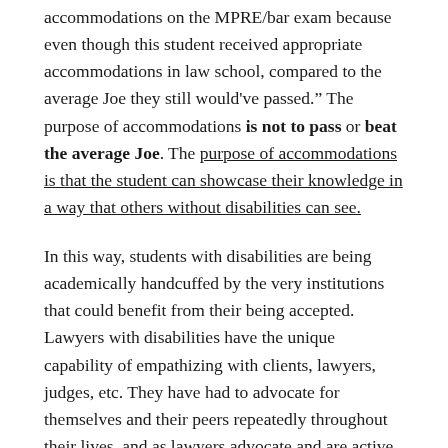accommodations on the MPRE/bar exam because even though this student received appropriate accommodations in law school, compared to the average Joe they still would've passed." The purpose of accommodations is not to pass or beat the average Joe. The purpose of accommodations is that the student can showcase their knowledge in a way that others without disabilities can see.
In this way, students with disabilities are being academically handcuffed by the very institutions that could benefit from their being accepted. Lawyers with disabilities have the unique capability of empathizing with clients, lawyers, judges, etc. They have had to advocate for themselves and their peers repeatedly throughout their lives, and as lawyers advocate and are active participants in legal organizations.